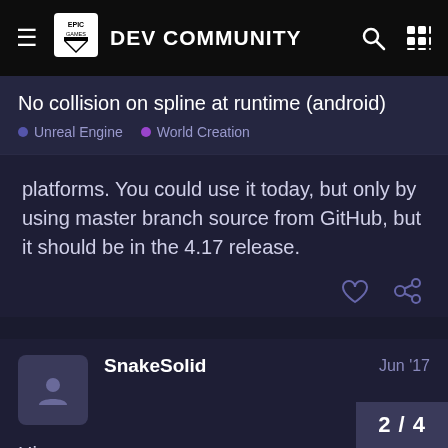Epic Games DEV COMMUNITY
No collision on spline at runtime (android)
Unreal Engine  World Creation
platforms. You could use it today, but only by using master branch source from GitHub, but it should be in the 4.17 release.
SnakeSolid  Jun '17
Hi,

I didn't know that it wasn't working for now on 4.16. I will try on the 4.17 or find an other
2 / 4